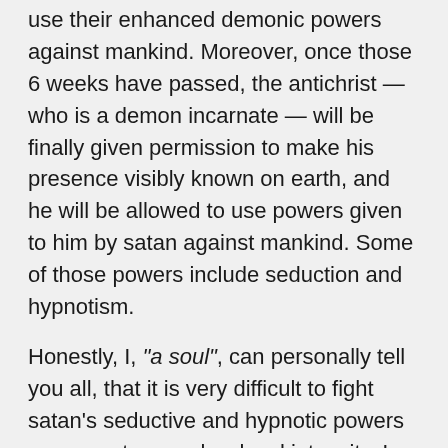use their enhanced demonic powers against mankind. Moreover, once those 6 weeks have passed, the antichrist — who is a demon incarnate — will be finally given permission to make his presence visibly known on earth, and he will be allowed to use powers given to him by satan against mankind. Some of those powers include seduction and hypnotism.
Honestly, I, "a soul", can personally tell you all, that it is very difficult to fight satan's seductive and hypnotic powers — even at a very low level intensity. I tell you all that at low levels such powers can make a person go instantly mad (crazy) and suicidal. So, I cannot even imagine how difficult that it would be to fight against such satanic powers at its greatest intensity through the antichrist. Moreover, I know that despite all my personal battles against satan during the past 18 years, the Lord